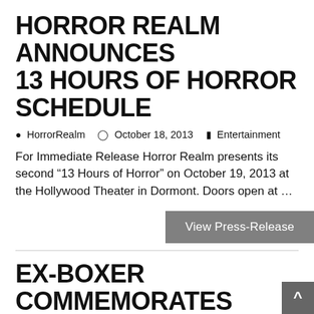HORROR REALM ANNOUNCES 13 HOURS OF HORROR SCHEDULE
HorrorRealm   October 18, 2013   Entertainment
For Immediate Release Horror Realm presents its second “13 Hours of Horror” on October 19, 2013 at the Hollywood Theater in Dormont. Doors open at …
EX-BOXER COMMEMORATES PITTSBURGH BORN TRAINER